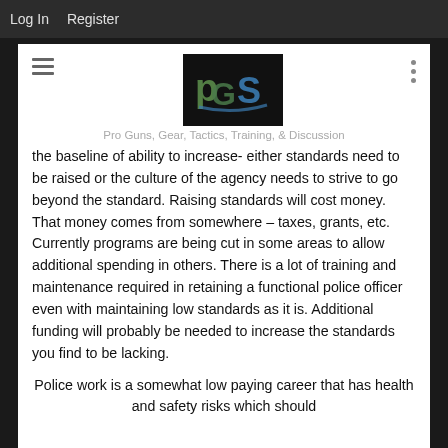Log In   Register
[Figure (logo): PGS logo — dark background with stylized green and blue letters 'P', 'G', 'S']
Pro Guns, Gear, Tactics, Training, & Discussion
the baseline of ability to increase- either standards need to be raised or the culture of the agency needs to strive to go beyond the standard. Raising standards will cost money. That money comes from somewhere – taxes, grants, etc. Currently programs are being cut in some areas to allow additional spending in others. There is a lot of training and maintenance required in retaining a functional police officer even with maintaining low standards as it is. Additional funding will probably be needed to increase the standards you find to be lacking.
Police work is a somewhat low paying career that has health and safety risks which should